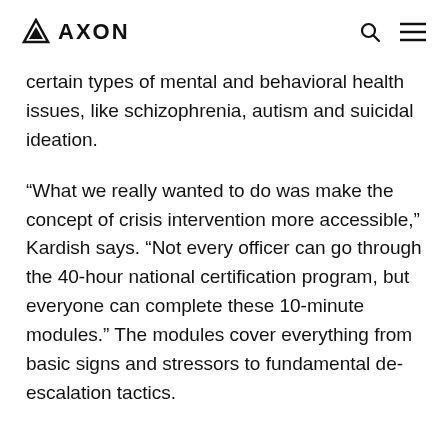AXON
certain types of mental and behavioral health issues, like schizophrenia, autism and suicidal ideation.
“What we really wanted to do was make the concept of crisis intervention more accessible,” Kardish says. “Not every officer can go through the 40-hour national certification program, but everyone can complete these 10-minute modules.” The modules cover everything from basic signs and stressors to fundamental de-escalation tactics.